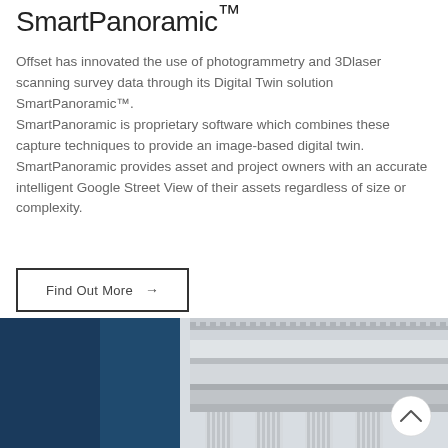SmartPanoramic™
Offset has innovated the use of photogrammetry and 3Dlaser scanning survey data through its Digital Twin solution SmartPanoramic™. SmartPanoramic is proprietary software which combines these capture techniques to provide an image-based digital twin. SmartPanoramic provides asset and project owners with an accurate intelligent Google Street View of their assets regardless of size or complexity.
Find Out More →
[Figure (photo): Architectural detail of white classical columns and entablature with blue sky background, viewed from below. A circular scroll-up button is visible in the lower right corner.]